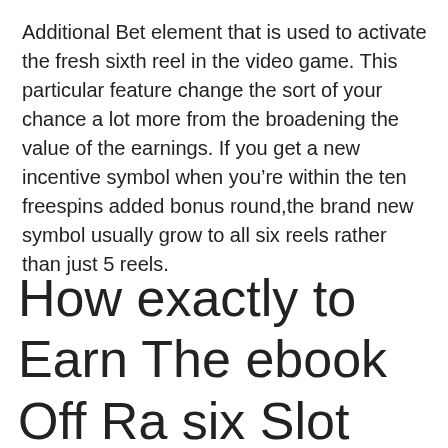Additional Bet element that is used to activate the fresh sixth reel in the video game. This particular feature change the sort of your chance a lot more from the broadening the value of the earnings. If you get a new incentive symbol when you're within the ten freespins added bonus round,the brand new symbol usually grow to all six reels rather than just 5 reels.
How exactly to Earn The ebook Off Ra six Slot